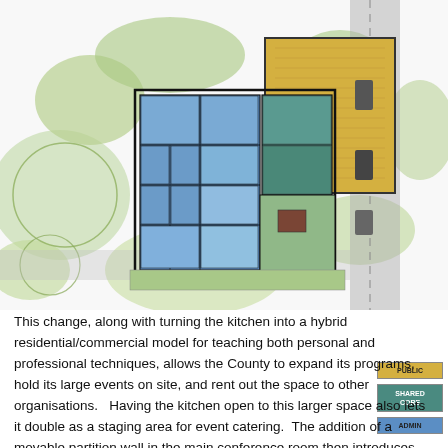[Figure (engineering-diagram): Architectural site plan / floor plan showing a building complex with color-coded zones. Blue areas labeled ADMIN, yellow/gold area labeled PUBLIC, teal/dark area labeled SHARED CORE. Legend on right shows PUBLIC (yellow), SHARED CORE (teal), ADMIN (blue). Surrounding site shows landscaping, parking, and adjacent roads.]
This change, along with turning the kitchen into a hybrid residential/commercial model for teaching both personal and professional techniques, allows the County to expand its programs, hold its large events on site, and rent out the space to other organisations.   Having the kitchen open to this larger space also lets it double as a staging area for event catering.  The addition of a movable partition wall in the main conference room then introduces the option to break it into a 1/3 and 2/3 pair of rooms, creating appropriate for different sizes of gatherings as required.